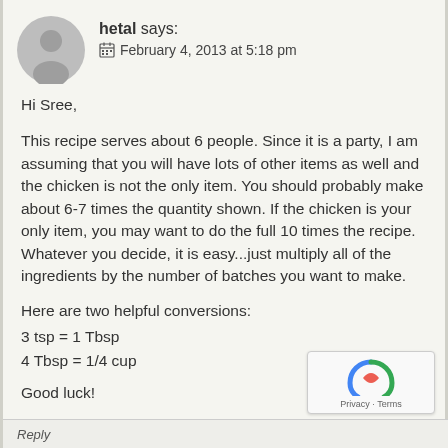hetal says: February 4, 2013 at 5:18 pm
Hi Sree,
This recipe serves about 6 people. Since it is a party, I am assuming that you will have lots of other items as well and the chicken is not the only item. You should probably make about 6-7 times the quantity shown. If the chicken is your only item, you may want to do the full 10 times the recipe. Whatever you decide, it is easy...just multiply all of the ingredients by the number of batches you want to make.
Here are two helpful conversions:
3 tsp = 1 Tbsp
4 Tbsp = 1/4 cup
Good luck!
[Figure (logo): reCAPTCHA logo with Privacy and Terms text]
Reply